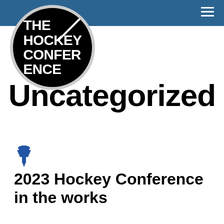[Figure (logo): The Hockey Conference circular logo — black circle with white bold text reading THE HOCKEY CONFERENCE and a diagonal slash]
Uncategorized
[Figure (illustration): Blue pushpin/thumbtack icon]
2023 Hockey Conference in the works